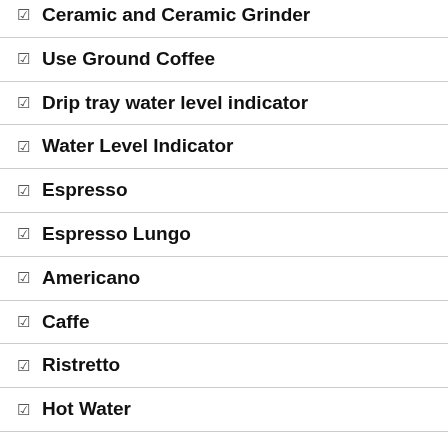Ceramic and Ceramic Grinder
Use Ground Coffee
Drip tray water level indicator
Water Level Indicator
Espresso
Espresso Lungo
Americano
Caffe
Ristretto
Hot Water